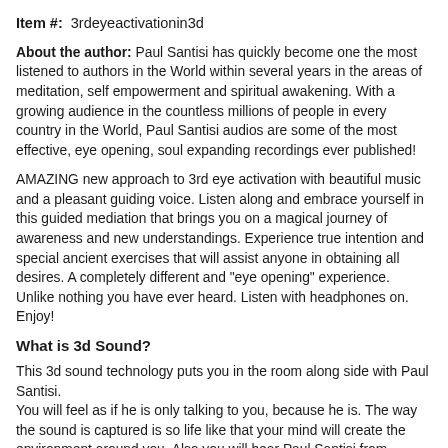Item #:  3rdeyeactivationin3d
About the author: Paul Santisi has quickly become one the most listened to authors in the World within several years in the areas of meditation, self empowerment and spiritual awakening. With a growing audience in the countless millions of people in every country in the World, Paul Santisi audios are some of the most effective, eye opening, soul expanding recordings ever published!
AMAZING new approach to 3rd eye activation with beautiful music and a pleasant guiding voice. Listen along and embrace yourself in this guided mediation that brings you on a magical journey of awareness and new understandings. Experience true intention and special ancient exercises that will assist anyone in obtaining all desires. A completely different and "eye opening" experience. Unlike nothing you have ever heard. Listen with headphones on. Enjoy!
What is 3d Sound?
This 3d sound technology puts you in the room along side with Paul Santisi.
You will feel as if he is only talking to you, because he is. The way the sound is captured is so life like that your mind will create the environment around you. Also you will hear Paul Santisi from everywhere all at once. Paul Santisi has pioneered the 3D meditation industry and nobody has even come close to figuring out how he does it. Simply addicting positivity for the mind and soul.
Listen with headphones to experience this amazing 3D Sound...